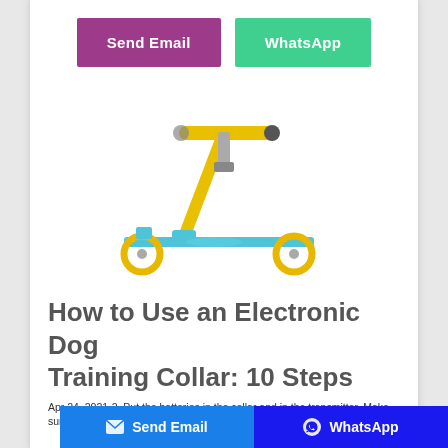[Figure (other): Two buttons: 'Send Email' (purple/magenta) and 'WhatsApp' (green)]
[Figure (photo): A yellow and blue children's kick scooter with two wheels and a T-bar handlebar]
How to Use an Electronic Dog Training Collar: 10 Steps
Apr 24, 2021-2. Put the batteries in the collar and in the transmitter. Make sure both
[Figure (other): Bottom navigation bar with 'Send Email' (blue with envelope icon) and 'WhatsApp' (dark blue with WhatsApp icon) buttons]